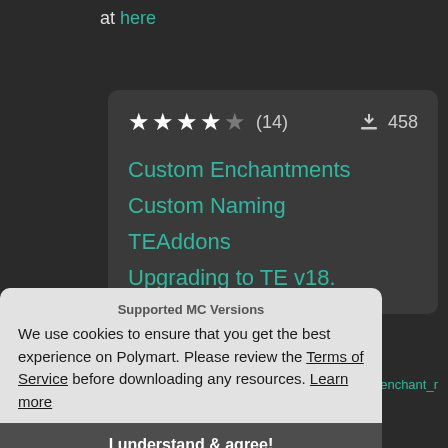at here
[Figure (screenshot): Rating card showing 4 out of 5 stars, (14) reviews, 458 downloads, with teal-colored links: Custom Enchantments, Custom Naming, TEAddons, Upgrading to TE v18.]
Supported MC Versions
We use cookies to ensure that you get the best experience on Polymart. Please review the Terms of Service before downloading any resources. Learn more
Basic Commands
eenenchant_r
I understand & agree!
Stripe